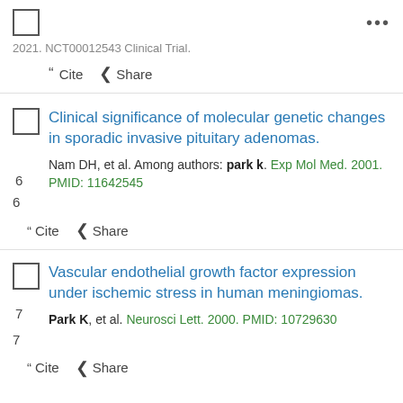...
2021. NCT00012543 Clinical Trial.
" Cite < Share
6
Clinical significance of molecular genetic changes in sporadic invasive pituitary adenomas.
Nam DH, et al. Among authors: park k. Exp Mol Med. 2001. PMID: 11642545
" Cite < Share
7
Vascular endothelial growth factor expression under ischemic stress in human meningiomas.
Park K, et al. Neurosci Lett. 2000. PMID: 10729630
" Cite < Share